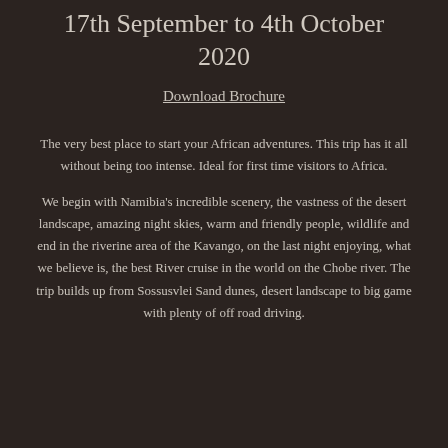17th September to 4th October 2020
Download Brochure
The very best place to start your African adventures. This trip has it all without being too intense. Ideal for first time visitors to Africa.
We begin with Namibia's incredible scenery, the vastness of the desert landscape, amazing night skies, warm and friendly people, wildlife and end in the riverine area of the Kavango, on the last night enjoying, what we believe is, the best River cruise in the world on the Chobe river. The trip builds up from Sossusvlei Sand dunes, desert landscape to big game with plenty of off road driving.